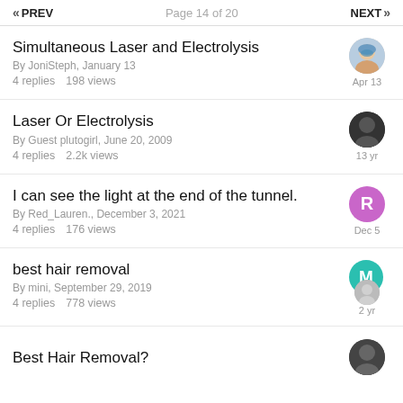« PREV   Page 14 of 20   NEXT »
Simultaneous Laser and Electrolysis | By JoniSteph, January 13 | 4 replies  198 views | Apr 13
Laser Or Electrolysis | By Guest plutogirl, June 20, 2009 | 4 replies  2.2k views | 13 yr
I can see the light at the end of the tunnel. | By Red_Lauren., December 3, 2021 | 4 replies  176 views | Dec 5
best hair removal | By mini, September 29, 2019 | 4 replies  778 views | 2 yr
Best Hair Removal?